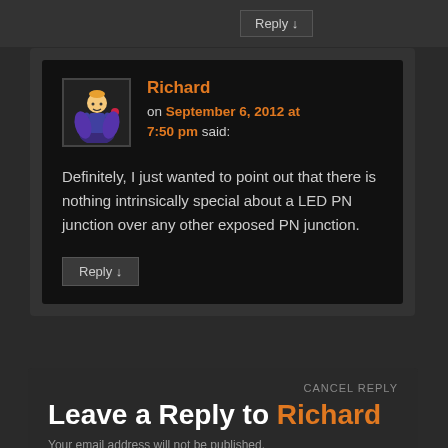Reply ↓
Richard on September 6, 2012 at 7:50 pm said:
Definitely, I just wanted to point out that there is nothing intrinsically special about a LED PN junction over any other exposed PN junction.
Reply ↓
CANCEL REPLY
Leave a Reply to Richard
Your email address will not be published.